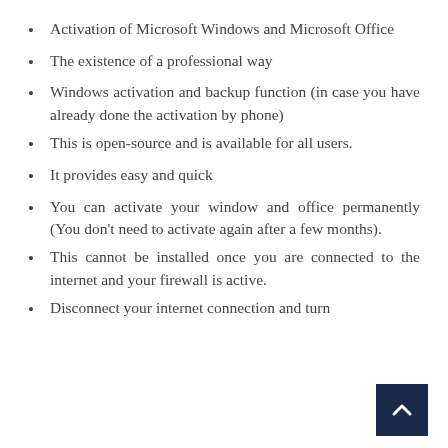Activation of Microsoft Windows and Microsoft Office
The existence of a professional way
Windows activation and backup function (in case you have already done the activation by phone)
This is open-source and is available for all users.
It provides easy and quick
You can activate your window and office permanently (You don't need to activate again after a few months).
This cannot be installed once you are connected to the internet and your firewall is active.
Disconnect your internet connection and turn